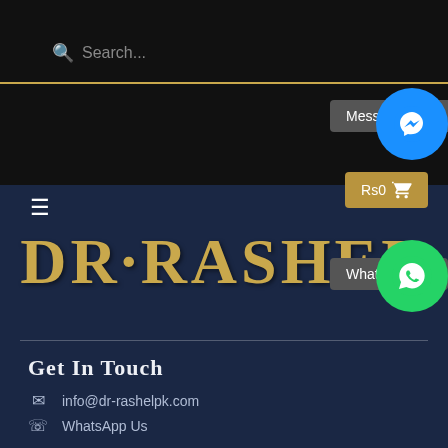Search...
Messenger Us
Rs0 (cart)
WhatsApp Us
[Figure (logo): DR·RASHEL brand logo in gold lettering on dark background]
Get In Touch
info@dr-rashelpk.com
WhatsApp Us
Quick Links